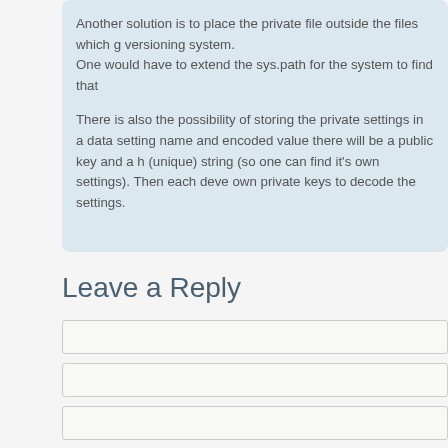Another solution is to place the private file outside the files which go under the versioning system.
One would have to extend the sys.path for the system to find that

There is also the possibility of storing the private settings in a data... setting name and encoded value there will be a public key and a h... (unique) string (so one can find it's own settings). Then each deve... own private keys to decode the settings.
Leave a Reply